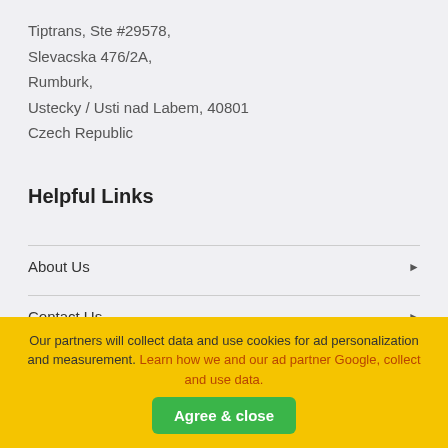Tiptrans, Ste #29578,
Slevacska 476/2A,
Rumburk,
Ustecky / Usti nad Labem, 40801
Czech Republic
Helpful Links
About Us
Contact Us
Copyright
Our partners will collect data and use cookies for ad personalization and measurement. Learn how we and our ad partner Google, collect and use data.
Agree & close